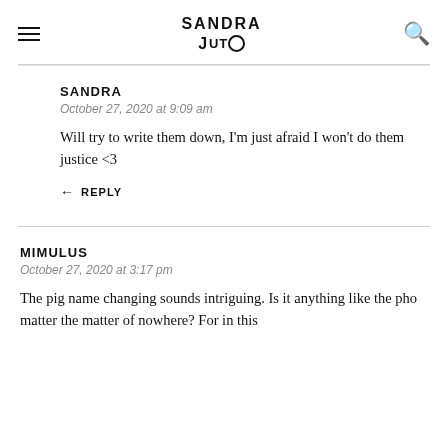SANDRA JUTO
SANDRA
October 27, 2020 at 9:09 am
Will try to write them down, I'm just afraid I won't do them justice <3
↩ REPLY
MIMULUS
October 27, 2020 at 3:17 pm
The pig name changing sounds intriguing. Is it anything like the pho matter the matter of nowhere? For in this...